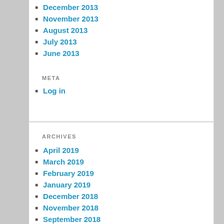December 2013
November 2013
August 2013
July 2013
June 2013
META
Log in
ARCHIVES
April 2019
March 2019
February 2019
January 2019
December 2018
November 2018
September 2018
April 2018
September 2017
August 2017